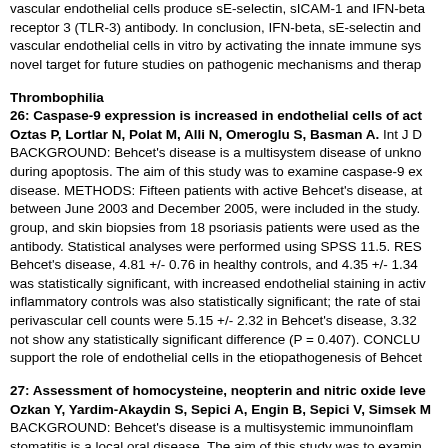vascular endothelial cells produce sE-selectin, sICAM-1 and IFN-beta receptor 3 (TLR-3) antibody. In conclusion, IFN-beta, sE-selectin and vascular endothelial cells in vitro by activating the innate immune sys novel target for future studies on pathogenic mechanisms and therap
Thrombophilia
26: Caspase-9 expression is increased in endothelial cells of act Oztas P, Lortlar N, Polat M, Alli N, Omeroglu S, Basman A. Int J D BACKGROUND: Behcet's disease is a multisystem disease of unkno during apoptosis. The aim of this study was to examine caspase-9 ex disease. METHODS: Fifteen patients with active Behcet's disease, at between June 2003 and December 2005, were included in the study. group, and skin biopsies from 18 psoriasis patients were used as the antibody. Statistical analyses were performed using SPSS 11.5. RES Behcet's disease, 4.81 +/- 0.76 in healthy controls, and 4.35 +/- 1.34 was statistically significant, with increased endothelial staining in activ inflammatory controls was also statistically significant; the rate of stai perivascular cell counts were 5.15 +/- 2.32 in Behcet's disease, 3.32 not show any statistically significant difference (P = 0.407). CONCLU support the role of endothelial cells in the etiopathogenesis of Behcet
27: Assessment of homocysteine, neopterin and nitric oxide leve Ozkan Y, Yardim-Akaydin S, Sepici A, Engin B, Sepici V, Simsek M BACKGROUND: Behcet's disease is a multisystemic immunoinflam stomatitis is a local oral disease. The aim of this study was to examin possible association of homocysteine with nitric oxide and neopterin l those with recurrent aphthous stomatitis in terms of these parameters disease, 25 patients with recurrent aphthous stomatitis as positive co